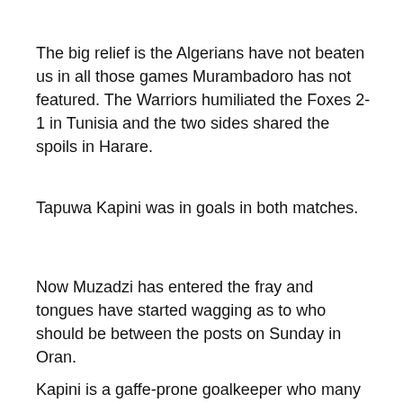The big relief is the Algerians have not beaten us in all those games Murambadoro has not featured. The Warriors humiliated the Foxes 2-1 in Tunisia and the two sides shared the spoils in Harare.
Tapuwa Kapini was in goals in both matches.
Now Muzadzi has entered the fray and tongues have started wagging as to who should be between the posts on Sunday in Oran.
Kapini is a gaffe-prone goalkeeper who many judged could